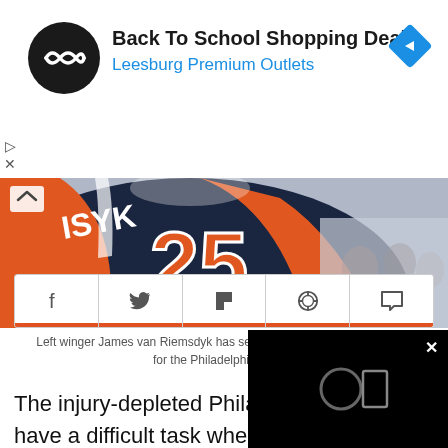[Figure (infographic): Advertisement banner: Back To School Shopping Deals, Leesburg Premium Outlets]
[Figure (photo): Close-up photo of a Philadelphia Flyers hockey player wearing jersey number 25 (James van Riemsdyk), orange and dark navy jersey]
Left winger James van Riemsdyk has seven goals in his last 14 games for the Philadelphia Flyers.
[Figure (infographic): Social share buttons row: Facebook, Twitter, Flipboard, WhatsApp, Comment]
The injury-depleted Philadelphia Fl... have a difficult task when they hos... York Rangers on Wednesday night...